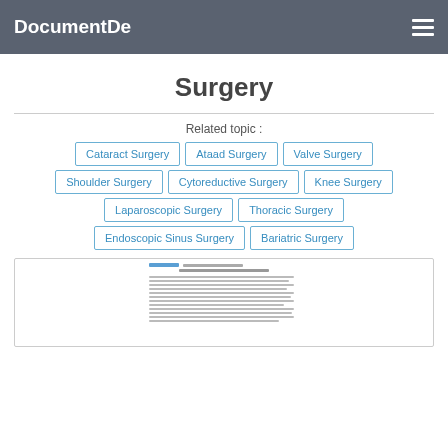DocumentDe
Surgery
Related topic :
Cataract Surgery
Ataad Surgery
Valve Surgery
Shoulder Surgery
Cytoreductive Surgery
Knee Surgery
Laparoscopic Surgery
Thoracic Surgery
Endoscopic Sinus Surgery
Bariatric Surgery
[Figure (screenshot): Preview thumbnail of a surgery-related document page]